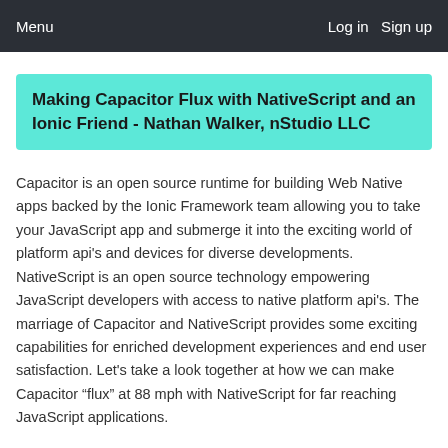Menu    Log in    Sign up
Making Capacitor Flux with NativeScript and an Ionic Friend - Nathan Walker, nStudio LLC
Capacitor is an open source runtime for building Web Native apps backed by the Ionic Framework team allowing you to take your JavaScript app and submerge it into the exciting world of platform api's and devices for diverse developments. NativeScript is an open source technology empowering JavaScript developers with access to native platform api's. The marriage of Capacitor and NativeScript provides some exciting capabilities for enriched development experiences and end user satisfaction. Let's take a look together at how we can make Capacitor “flux” at 88 mph with NativeScript for far reaching JavaScript applications.